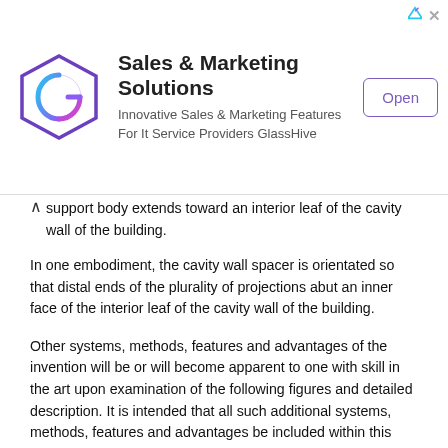[Figure (other): Advertisement banner for GlassHive Sales & Marketing Solutions with logo, tagline, and Open button]
support body extends toward an interior leaf of the cavity wall of the building.
In one embodiment, the cavity wall spacer is orientated so that distal ends of the plurality of projections abut an inner face of the interior leaf of the cavity wall of the building.
Other systems, methods, features and advantages of the invention will be or will become apparent to one with skill in the art upon examination of the following figures and detailed description. It is intended that all such additional systems, methods, features and advantages be included within this description, be within the scope of the invention, and be protected by the accompanying claims.
BRIEF DESCRIPTION OF THE DRAWINGS
The components in the figures are not necessarily to scale, emphasis instead being placed upon illustrating the principles of the invention. In the figures, like reference numerals designate corresponding parts throughout the different views.